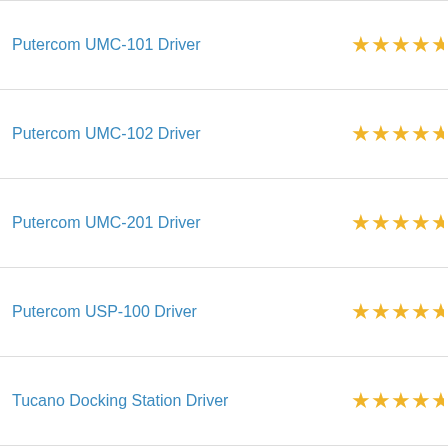Putercom UMC-101 Driver
Putercom UMC-102 Driver
Putercom UMC-201 Driver
Putercom USP-100 Driver
Tucano Docking Station Driver
Tucano Lan Docking Station Driver
Wiretek VE534 Driver
Z-Tek ZE400 Driver
Z-Tek ZK-U03-2A Driver
DriverGuide uses cookies to make our website easier to use. Learn more about cookies. [×]